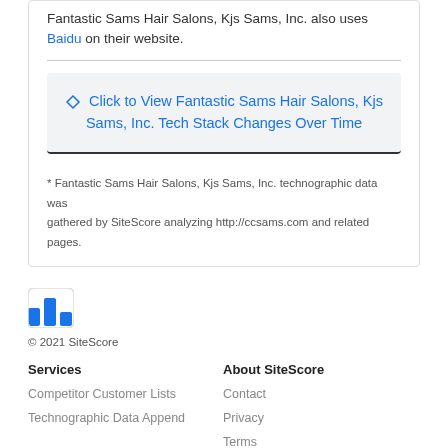Fantastic Sams Hair Salons, Kjs Sams, Inc. also uses Baidu on their website.
⬦  Click to View Fantastic Sams Hair Salons, Kjs Sams, Inc. Tech Stack Changes Over Time
* Fantastic Sams Hair Salons, Kjs Sams, Inc. technographic data was gathered by SiteScore analyzing http://ccsams.com and related pages.
[Figure (logo): SiteScore bar chart logo icon in blue]
© 2021 SiteScore
Services
Competitor Customer Lists
Technographic Data Append
About SiteScore
Contact
Privacy
Terms